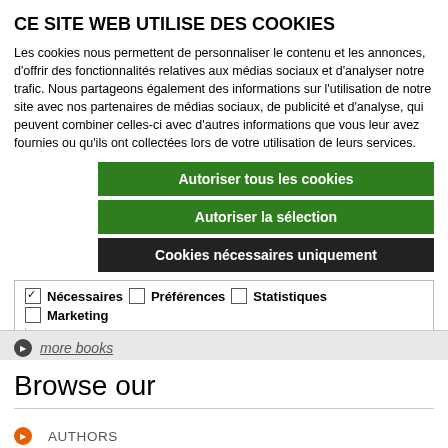CE SITE WEB UTILISE DES COOKIES
Les cookies nous permettent de personnaliser le contenu et les annonces, d'offrir des fonctionnalités relatives aux médias sociaux et d'analyser notre trafic. Nous partageons également des informations sur l'utilisation de notre site avec nos partenaires de médias sociaux, de publicité et d'analyse, qui peuvent combiner celles-ci avec d'autres informations que vous leur avez fournies ou qu'ils ont collectées lors de votre utilisation de leurs services.
Autoriser tous les cookies
Autoriser la sélection
Cookies nécessaires uniquement
| ✓ Nécessaires | ☐ Préférences | ☐ Statistiques | Afficher les détails ∨ |
| ☐ Marketing |  |  |  |
more books
Browse our
AUTHORS
COLLECTIONS